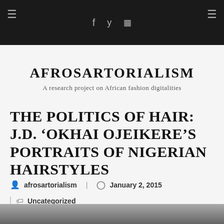AFROSARTORIALISM — A research project on African fashion digitalities
THE POLITICS OF HAIR: J.D. 'OKHAI OJEIKERE'S PORTRAITS OF NIGERIAN HAIRSTYLES
afrosartorialism | January 2, 2015
Uncategorized
[Figure (photo): Bottom strip of a photograph, partially visible at the bottom of the page]